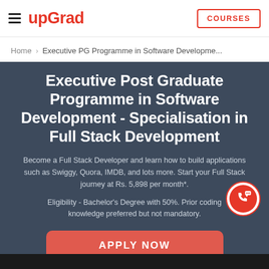upGrad | COURSES
Home > Executive PG Programme in Software Developme...
Executive Post Graduate Programme in Software Development - Specialisation in Full Stack Development
Become a Full Stack Developer and learn how to build applications such as Swiggy, Quora, IMDB, and lots more. Start your Full Stack journey at Rs. 5,898 per month*.
Eligibility - Bachelor's Degree with 50%. Prior coding knowledge preferred but not mandatory.
APPLY NOW